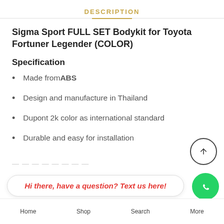DESCRIPTION
Sigma Sport FULL SET Bodykit for Toyota Fortuner Legender (COLOR)
Specification
Made from ABS
Design and manufacture in Thailand
Dupont 2k color as international standard
Durable and easy for installation
Hi there, have a question? Text us here!
Home  Shop  Search  More